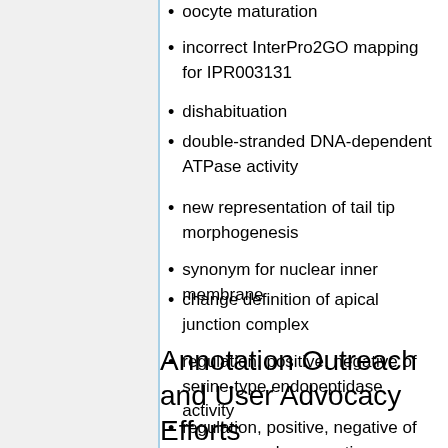oocyte maturation
incorrect InterPro2GO mapping for IPR003131
dishabituation
double-stranded DNA-dependent ATPase activity
new representation of tail tip morphogenesis
synonym for nuclear inner membrane
change definition of apical junction complex
regulation, positive, negative of serine-type endopeptidase activity
regulation, positive, negative of neuromuscular synaptic transmission
Annotation Outreach and User Advocacy Efforts